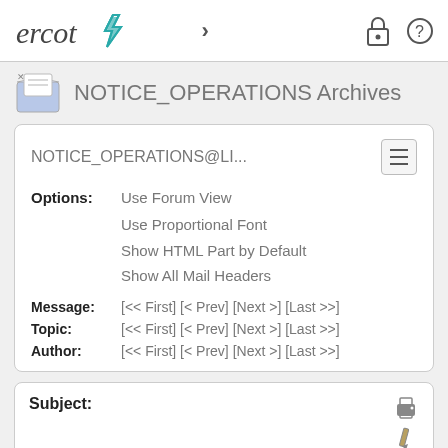ercot [logo] > [lock icon] [help icon]
NOTICE_OPERATIONS Archives
NOTICE_OPERATIONS@LI...
Options: Use Forum View
Use Proportional Font
Show HTML Part by Default
Show All Mail Headers
Message: [<< First] [< Prev] [Next >] [Last >>]
Topic: [<< First] [< Prev] [Next >] [Last >>]
Author: [<< First] [< Prev] [Next >] [Last >>]
Subject: Nodal - Binding COP Submissions Beginning November 24 2010
From: